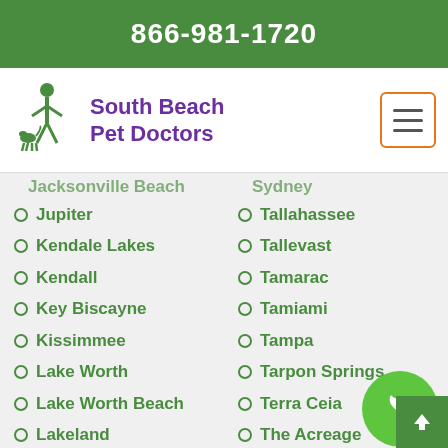866-981-1720
[Figure (logo): South Beach Pet Doctors logo with person and dogs silhouette]
South Beach Pet Doctors
Jacksonville Beach
Sydney
Jupiter
Tallahassee
Kendale Lakes
Tallevast
Kendall
Tamarac
Key Biscayne
Tamiami
Kissimmee
Tampa
Lake Worth
Tarpon Springs
Lake Worth Beach
Terra Ceia
Lakeland
The Acreage
Land O Lakes
The Hammocks
Largo
The Villages
Lauderhill
Thonotosassa
Lehigh Acres
Titusville